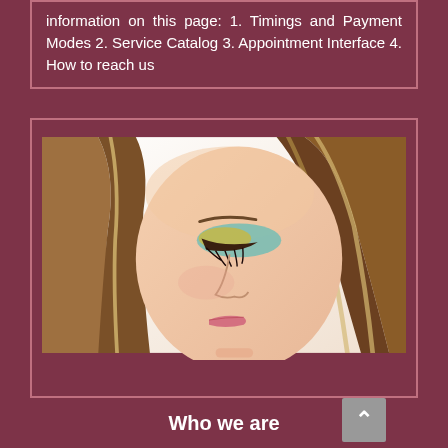information on this page: 1. Timings and Payment Modes 2. Service Catalog 3. Appointment Interface 4. How to reach us
[Figure (photo): Close-up photo of a young woman with highlighted straight blonde-brown hair, eyes closed with teal/blue and gold eyeshadow makeup, on white background]
Who we are